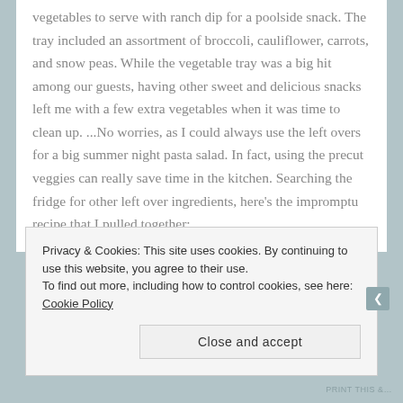vegetables to serve with ranch dip for a poolside snack. The tray included an assortment of broccoli, cauliflower, carrots, and snow peas. While the vegetable tray was a big hit among our guests, having other sweet and delicious snacks left me with a few extra vegetables when it was time to clean up. ...No worries, as I could always use the left overs for a big summer night pasta salad. In fact, using the precut veggies can really save time in the kitchen. Searching the fridge for other left over ingredients, here's the impromptu recipe that I pulled together:
Privacy & Cookies: This site uses cookies. By continuing to use this website, you agree to their use.
To find out more, including how to control cookies, see here: Cookie Policy